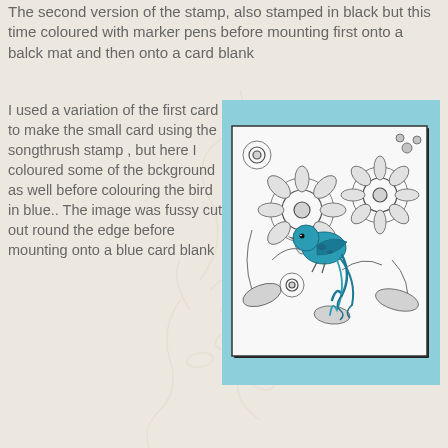The second version of the stamp, also stamped in black but this time coloured with marker pens before mounting first onto a balck mat and then onto a card blank
I used a variation of the first card to make the small card using the songthrush stamp , but here I coloured some of the bckground as well before colouring the bird in blue.. The image was fussy cut out round the edge before mounting onto a blue card blank
[Figure (photo): A handmade greeting card on a blue card blank. The stamp image shows black ink floral/botanical background with a teal/blue colored bird (song thrush) in the center. The stamped image is fussy cut and mounted on the blue card.]